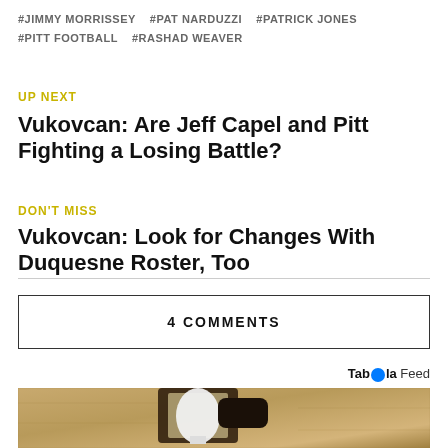#JIMMY MORRISSEY  #PAT NARDUZZI  #PATRICK JONES  #PITT FOOTBALL  #RASHAD WEAVER
UP NEXT
Vukovcan: Are Jeff Capel and Pitt Fighting a Losing Battle?
DON'T MISS
Vukovcan: Look for Changes With Duquesne Roster, Too
4 COMMENTS
Taboola Feed
[Figure (photo): Close-up photo of an outdoor wall lantern mounted on a textured stone wall, with a white light bulb visible inside the dark metal lantern housing.]